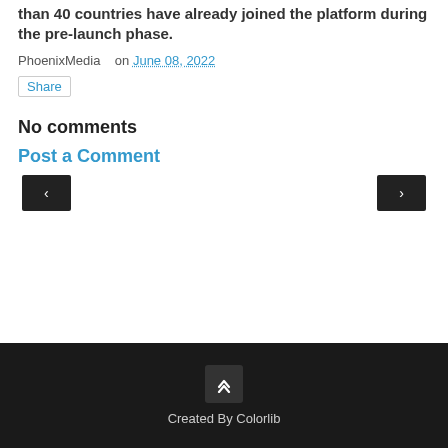than 40 countries have already joined the platform during the pre-launch phase.
PhoenixMedia   on June 08, 2022
Share
No comments
Post a Comment
Created By Colorlib